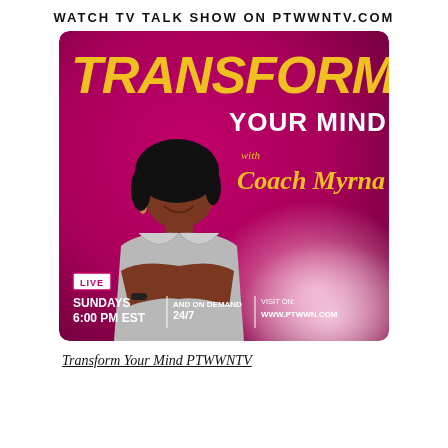WATCH TV TALK SHOW ON PTWWNTV.COM
[Figure (illustration): TV show promotional banner for 'Transform Your Mind with Coach Myrna' featuring a woman with arms crossed, on a pink/magenta gradient background. Shows LIVE, SUNDAYS 6:00 PM EST, AND ON DEMAND 24/7, VISIT ON: WWW.PTWWN.COM]
Transform Your Mind PTWWNTV